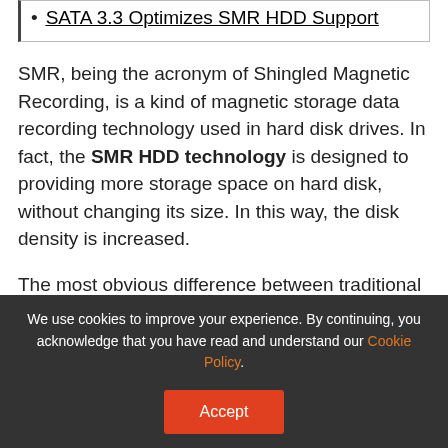SATA 3.3 Optimizes SMR HDD Support
SMR, being the acronym of Shingled Magnetic Recording, is a kind of magnetic storage data recording technology used in hard disk drives. In fact, the SMR HDD technology is designed to providing more storage space on hard disk, without changing its size. In this way, the disk density is increased.
The most obvious difference between traditional data recording technology and SMR is – the former writes data into non-overlapping magnetic tracks
We use cookies to improve your experience. By continuing, you acknowledge that you have read and understand our Cookie Policy.